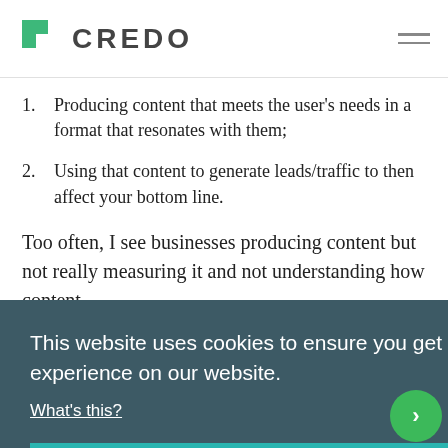CREDO
Producing content that meets the user's needs in a format that resonates with them;
Using that content to generate leads/traffic to then affect your bottom line.
Too often, I see businesses producing content but not really measuring it and not understanding how content
This website uses cookies to ensure you get the best experience on our website. What's this? Got it